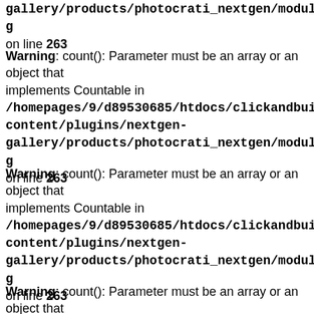gallery/products/photocrati_nextgen/modules/fs/packag on line 263
Warning: count(): Parameter must be an array or an object that implements Countable in /homepages/9/d89530685/htdocs/clickandbuilds/Sprayk content/plugins/nextgen-gallery/products/photocrati_nextgen/modules/fs/packag on line 263
Warning: count(): Parameter must be an array or an object that implements Countable in /homepages/9/d89530685/htdocs/clickandbuilds/Sprayk content/plugins/nextgen-gallery/products/photocrati_nextgen/modules/fs/packag on line 263
Warning: count(): Parameter must be an array or an object that